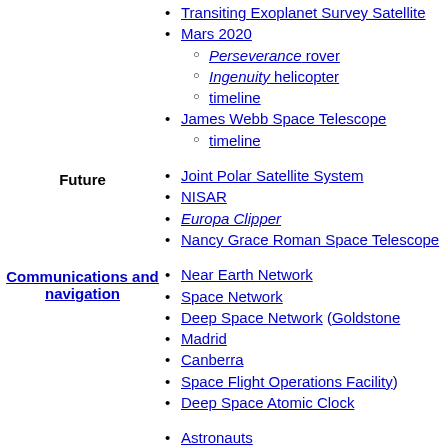Transiting Exoplanet Survey Satellite
Mars 2020
Perseverance rover
Ingenuity helicopter
timeline
James Webb Space Telescope
timeline
Future
Joint Polar Satellite System
NISAR
Europa Clipper
Nancy Grace Roman Space Telescope
Communications and navigation
Near Earth Network
Space Network
Deep Space Network (Goldstone
Madrid
Canberra
Space Flight Operations Facility)
Deep Space Atomic Clock
Astronauts
by name